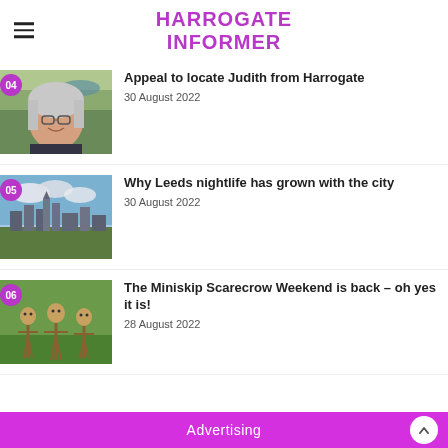HARROGATE INFORMER
Appeal to locate Judith from Harrogate
30 August 2022
[Figure (photo): Older woman with long grey hair and glasses, smiling outdoors in a green hilly landscape]
Why Leeds nightlife has grown with the city
30 August 2022
[Figure (photo): Cityscape of Leeds with buildings and a cloudy sky]
The Miniskip Scarecrow Weekend is back – oh yes it is!
28 August 2022
[Figure (photo): Three straw scarecrow figures standing on green grass]
Advertising